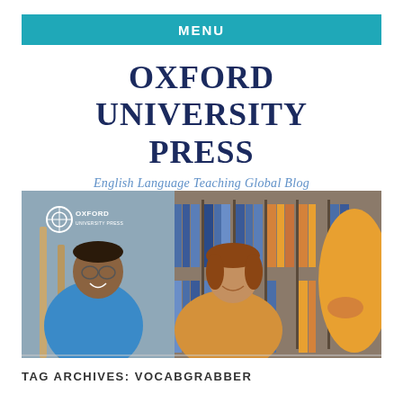MENU
OXFORD UNIVERSITY PRESS
English Language Teaching Global Blog
[Figure (photo): Two students smiling in a library setting. A man in a blue shirt on the left wearing glasses, and a woman in a yellow/mustard sweater in the center-right. Bookshelves visible in the background. Oxford University Press logo in the top-left corner of the image.]
TAG ARCHIVES: VOCABGRABBER